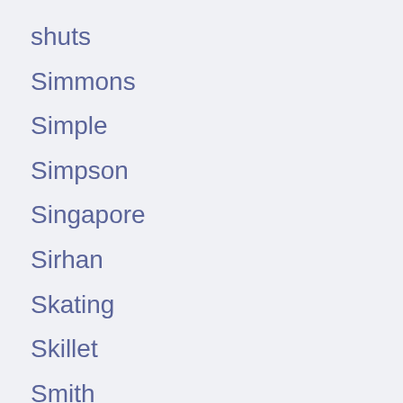shuts
Simmons
Simple
Simpson
Singapore
Sirhan
Skating
Skillet
Smith
Smoke
Smollett
Snaps
Social